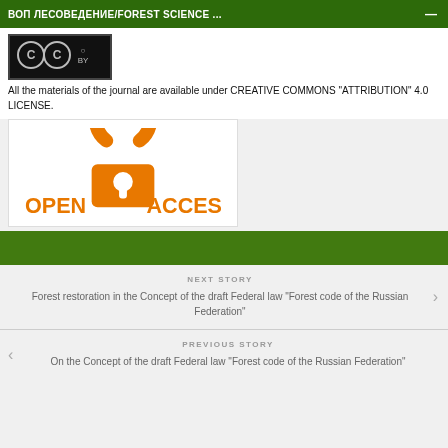ВОП ЛЕСОВЕДЕНИЕ/FOREST SCIENCE ...
[Figure (logo): Creative Commons BY license logo — black background with CC and person icons, 'BY' text below]
All the materials of the journal are available under CREATIVE COMMONS "ATTRIBUTION" 4.0 LICENSE.
[Figure (logo): Open Access logo — orange padlock with text OPEN ACCESS on white background]
NEXT STORY
Forest restoration in the Concept of the draft Federal law “Forest code of the Russian Federation”
PREVIOUS STORY
On the Concept of the draft Federal law “Forest code of the Russian Federation”